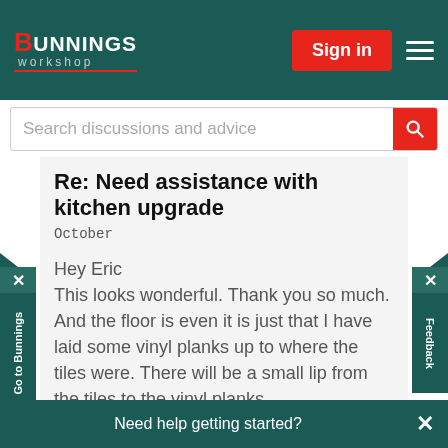BUNNINGS workshop — Sign in
Search discussions and advice
Re: Need assistance with kitchen upgrade
October
Hey Eric
This looks wonderful. Thank you so much.
And the floor is even it is just that I have laid some vinyl planks up to where the tiles were. There will be a small lip from the tiles to the vinyl planks.
Report Inappropriate Content
Message 3 of 4 ( 558 Views )
Reply
Need help getting started?